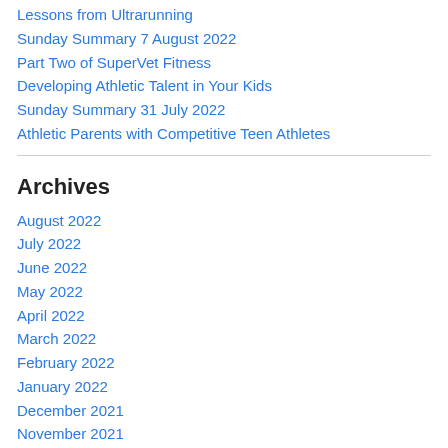Lessons from Ultrarunning
Sunday Summary 7 August 2022
Part Two of SuperVet Fitness
Developing Athletic Talent in Your Kids
Sunday Summary 31 July 2022
Athletic Parents with Competitive Teen Athletes
Archives
August 2022
July 2022
June 2022
May 2022
April 2022
March 2022
February 2022
January 2022
December 2021
November 2021